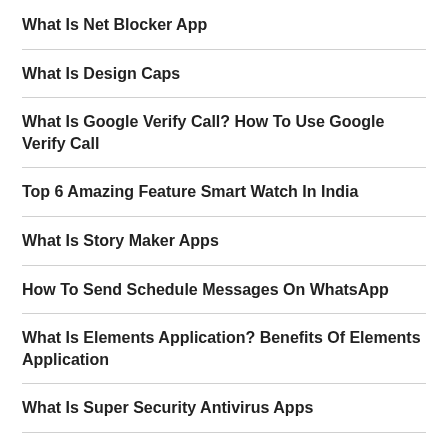What Is Net Blocker App
What Is Design Caps
What Is Google Verify Call? How To Use Google Verify Call
Top 6 Amazing Feature Smart Watch In India
What Is Story Maker Apps
How To Send Schedule Messages On WhatsApp
What Is Elements Application? Benefits Of Elements Application
What Is Super Security Antivirus Apps
Xiaomi Redmi Note 11 Pro Max 5G Features & Specifications
What Is Pirated Website? And How Does It Work?